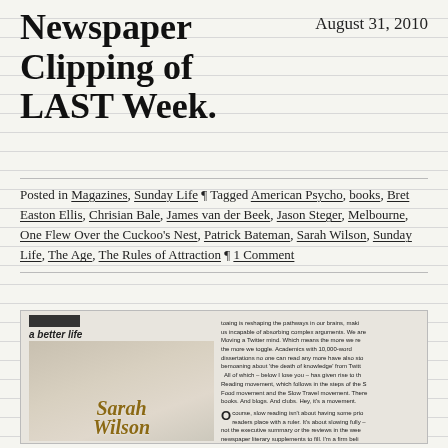Newspaper Clipping of LAST Week.
August 31, 2010
Posted in Magazines, Sunday Life ¶ Tagged American Psycho, books, Bret Easton Ellis, Chrisian Bale, James van der Beek, Jason Steger, Melbourne, One Flew Over the Cuckoo's Nest, Patrick Bateman, Sarah Wilson, Sunday Life, The Age, The Rules of Attraction ¶ 1 Comment
[Figure (photo): Newspaper clipping from Sunday Life magazine showing a woman (Sarah Wilson) in white clothing with an article about reading and slow living. The image has a photo on the left side with the name 'Sarah Wilson' in italic gold text overlaid, and article text on the right side.]